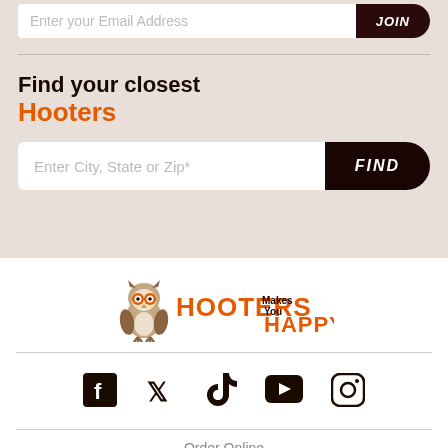Enter your Email Address
Find your closest Hooters
Enter City, State or Zip*
[Figure (logo): Hooters owl mascot logo with text 'HOOTERS Makes You HAPPY']
Social media icons: Facebook, Twitter, TikTok, YouTube, Instagram
Order Online